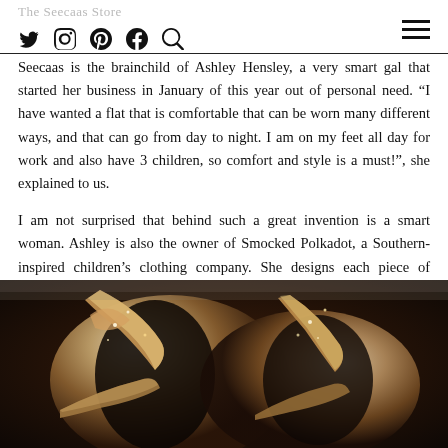The Seecaas Store — navigation icons (Twitter, Instagram, Pinterest, Facebook, Search) and hamburger menu
Seecaas is the brainchild of Ashley Hensley, a very smart gal that started her business in January of this year out of personal need. “I have wanted a flat that is comfortable that can be worn many different ways, and that can go from day to night. I am on my feet all day for work and also have 3 children, so comfort and style is a must!”, she explained to us.
I am not surprised that behind such a great invention is a smart woman. Ashley is also the owner of Smocked Polkadot, a Southern-inspired children’s clothing company. She designs each piece of clothing for Smocked Polkadot, and she enjoyed her design experience so much that she decided to design something for women. And somehow she landed on the most versatile flats ever.
[Figure (photo): Close-up photo of decorative flat shoes with metallic/glittery straps, shown from above against a neutral background]